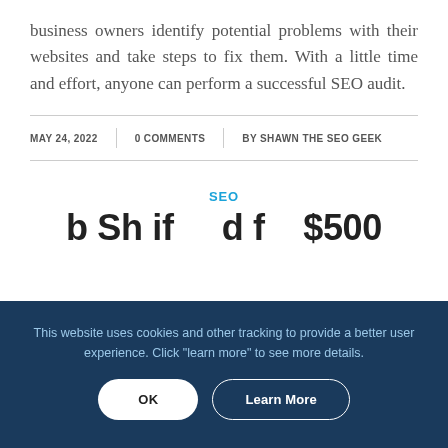business owners identify potential problems with their websites and take steps to fix them. With a little time and effort, anyone can perform a successful SEO audit.
MAY 24, 2022 | 0 COMMENTS | BY SHAWN THE SEO GEEK
SEO
b...Sheri...d f... $500
This website uses cookies and other tracking to provide a better user experience. Click "learn more" to see more details.